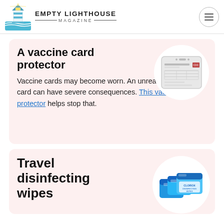EMPTY LIGHTHOUSE MAGAZINE
A vaccine card protector
[Figure (photo): A COVID-19 vaccination record card displayed inside a clear plastic card protector sleeve]
Vaccine cards may become worn. An unreadable vaccine card can have severe consequences. This vaccine card protector helps stop that.
Travel disinfecting wipes
[Figure (photo): Three blue Clorox travel disinfecting wipes packages stacked together]